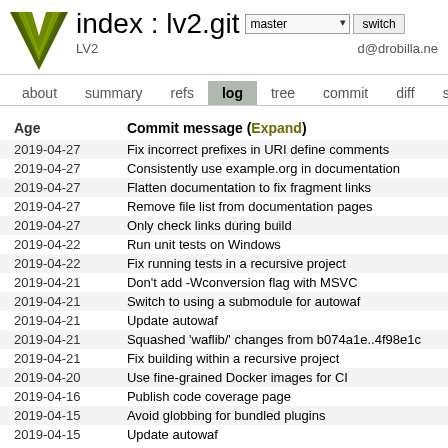index : lv2.git  master  switch  LV2  d@drobilla.ne
about  summary  refs  log  tree  commit  diff  stat
| Age | Commit message (Expand) |
| --- | --- |
| 2019-04-27 | Fix incorrect prefixes in URI define comments |
| 2019-04-27 | Consistently use example.org in documentation |
| 2019-04-27 | Flatten documentation to fix fragment links |
| 2019-04-27 | Remove file list from documentation pages |
| 2019-04-27 | Only check links during build |
| 2019-04-22 | Run unit tests on Windows |
| 2019-04-22 | Fix running tests in a recursive project |
| 2019-04-21 | Don't add -Wconversion flag with MSVC |
| 2019-04-21 | Switch to using a submodule for autowaf |
| 2019-04-21 | Update autowaf |
| 2019-04-21 | Squashed 'waflib/' changes from b074a1e..4f98e1c |
| 2019-04-21 | Fix building within a recursive project |
| 2019-04-20 | Use fine-grained Docker images for CI |
| 2019-04-16 | Publish code coverage page |
| 2019-04-15 | Avoid globbing for bundled plugins |
| 2019-04-15 | Update autowaf |